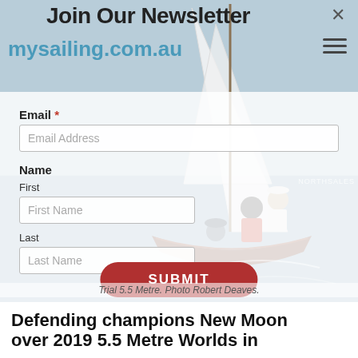Join Our Newsletter
mysailing.com.au
[Figure (photo): Newsletter signup modal overlay on top of a sailing photo showing two crew members in a wooden sailboat (5.5 Metre class) on the water with sails up.]
Trial 5.5 Metre. Photo Robert Deaves.
Defending champions New Moon over 2019 5.5 Metre Worlds in